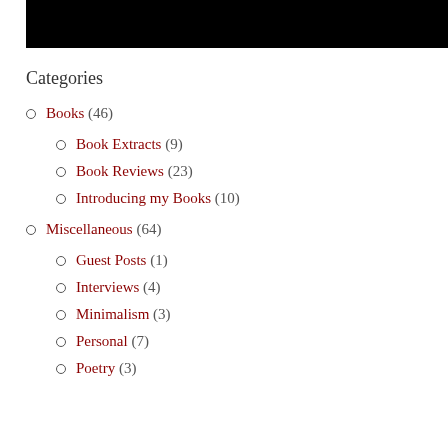[Figure (other): Black rectangular banner/header image at the top of the page]
Categories
Books (46)
Book Extracts (9)
Book Reviews (23)
Introducing my Books (10)
Miscellaneous (64)
Guest Posts (1)
Interviews (4)
Minimalism (3)
Personal (7)
Poetry (3)